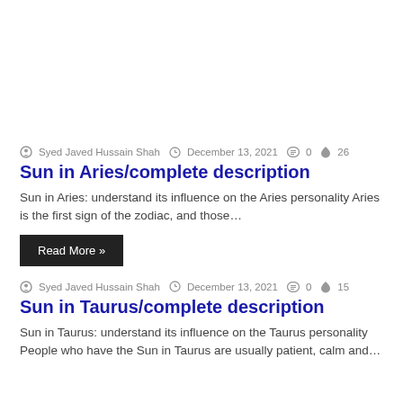Syed Javed Hussain Shah  December 13, 2021  0  26
Sun in Aries/complete description
Sun in Aries: understand its influence on the Aries personality Aries is the first sign of the zodiac, and those…
Read More »
Syed Javed Hussain Shah  December 13, 2021  0  15
Sun in Taurus/complete description
Sun in Taurus: understand its influence on the Taurus personality People who have the Sun in Taurus are usually patient, calm and…